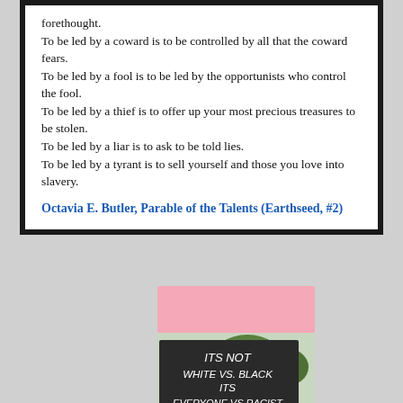forethought.
To be led by a coward is to be controlled by all that the coward fears.
To be led by a fool is to be led by the opportunists who control the fool.
To be led by a thief is to offer up your most precious treasures to be stolen.
To be led by a liar is to ask to be told lies.
To be led by a tyrant is to sell yourself and those you love into slavery.
Octavia E. Butler, Parable of the Talents (Earthseed, #2)
[Figure (photo): A person holding a black protest sign with white handwritten text reading: ITS NOT WHITE VS. BLACK ITS EVERYONE VS RACIST. Trees visible in background.]